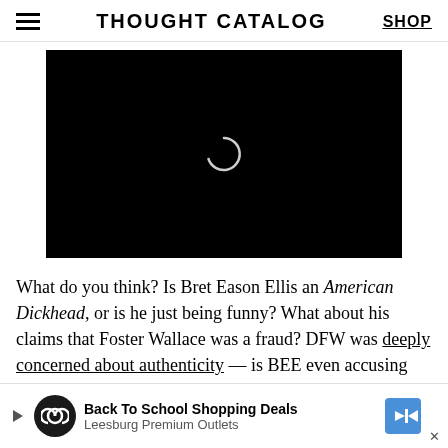THOUGHT CATALOG | SHOP
[Figure (screenshot): Black video player area with a loading spinner (C-shaped arc) centered on it]
What do you think? Is Bret Eason Ellis an American Dickhead, or is he just being funny? What about his claims that Foster Wallace was a fraud? DFW was deeply concerned about authenticity — is BEE even accusing him of anything he hasn't already accused of himself? Is Wallace's psychointense writing naval-gazing gimmickry? If so, what separates it, for example, from Easton Ellis' use of monologues... from his seeming...
[Figure (screenshot): Advertisement banner: Back To School Shopping Deals, Leesburg Premium Outlets, with play button, infinity logo circle, and directional arrow icon]